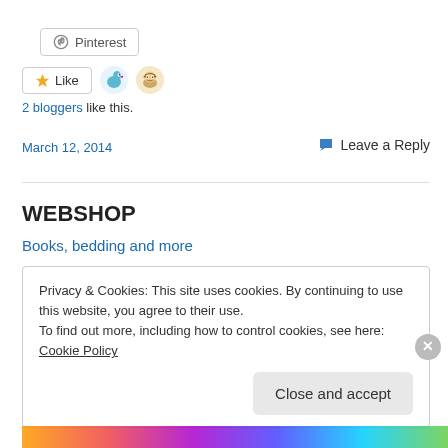[Figure (other): Pinterest button with pin icon]
[Figure (other): Like button with star icon and two blogger avatars]
2 bloggers like this.
March 12, 2014
Leave a Reply
WEBSHOP
Books, bedding and more
Privacy & Cookies: This site uses cookies. By continuing to use this website, you agree to their use.
To find out more, including how to control cookies, see here: Cookie Policy
Close and accept